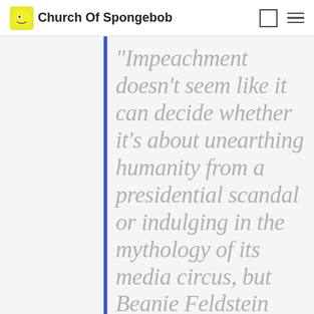Church Of Spongebob
“Impeachment doesn’t seem like it can decide whether it’s about unearthing humanity from a presidential scandal or indulging in the mythology of its media circus, but Beanie Feldstein and Sarah Paulson’s performances ring in the